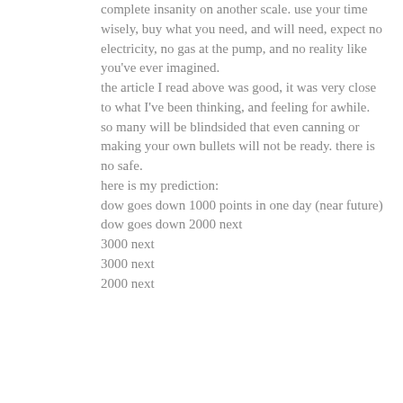complete insanity on another scale. use your time wisely, buy what you need, and will need, expect no electricity, no gas at the pump, and no reality like you've ever imagined.
the article I read above was good, it was very close to what I've been thinking, and feeling for awhile.
so many will be blindsided that even canning or making your own bullets will not be ready. there is no safe.
here is my prediction:
dow goes down 1000 points in one day (near future)
dow goes down 2000 next
3000 next
3000 next
2000 next